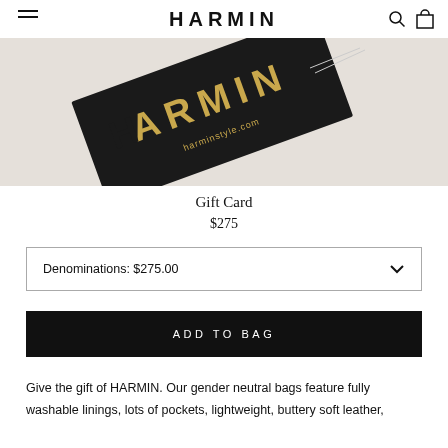HARMIN
[Figure (photo): Close-up of a black HARMIN brand tag with gold lettering reading 'ARMIN' and 'harminstyle.com', on a light beige/cream background]
Gift Card
$275
Denominations: $275.00
ADD TO BAG
Give the gift of HARMIN. Our gender neutral bags feature fully washable linings, lots of pockets, lightweight, buttery soft leather,